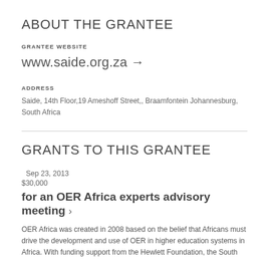ABOUT THE GRANTEE
GRANTEE WEBSITE
www.saide.org.za →
ADDRESS
Saide, 14th Floor,19 Ameshoff Street,, Braamfontein Johannesburg, South Africa
GRANTS TO THIS GRANTEE
Sep 23, 2013
$30,000
for an OER Africa experts advisory meeting ›
OER Africa was created in 2008 based on the belief that Africans must drive the development and use of OER in higher education systems in Africa. With funding support from the Hewlett Foundation, the South